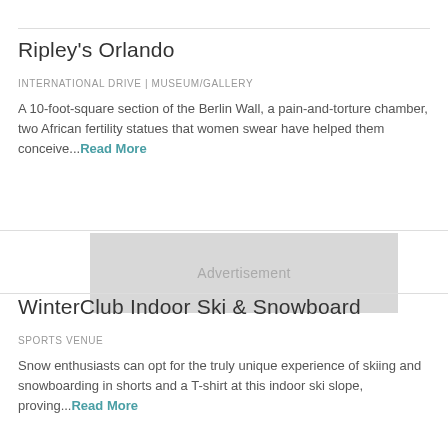Ripley's Orlando
INTERNATIONAL DRIVE | MUSEUM/GALLERY
A 10-foot-square section of the Berlin Wall, a pain-and-torture chamber, two African fertility statues that women swear have helped them conceive...Read More
[Figure (other): Advertisement placeholder block]
WinterClub Indoor Ski & Snowboard
SPORTS VENUE
Snow enthusiasts can opt for the truly unique experience of skiing and snowboarding in shorts and a T-shirt at this indoor ski slope, proving...Read More